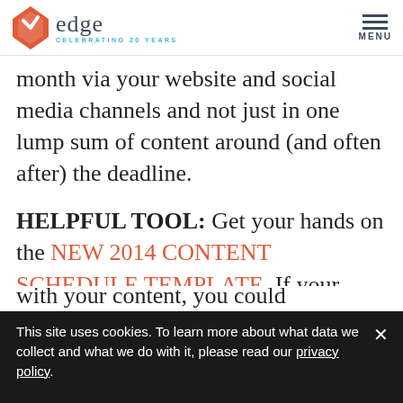edge CELEBRATING 20 YEARS | MENU
month via your website and social media channels and not just in one lump sum of content around (and often after) the deadline.
HELPFUL TOOL: Get your hands on the NEW 2014 CONTENT SCHEDULE TEMPLATE. If your content schedule is
This site uses cookies. To learn more about what data we collect and what we do with it, please read our privacy policy.